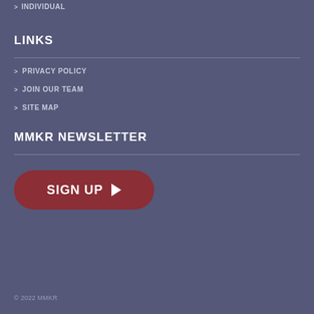> INDIVIDUAL
LINKS
> PRIVACY POLICY
> JOIN OUR TEAM
> SITE MAP
MMKR NEWSLETTER
[Figure (other): Red rounded button with text SIGN UP and a play arrow icon]
© 2022 MMKR